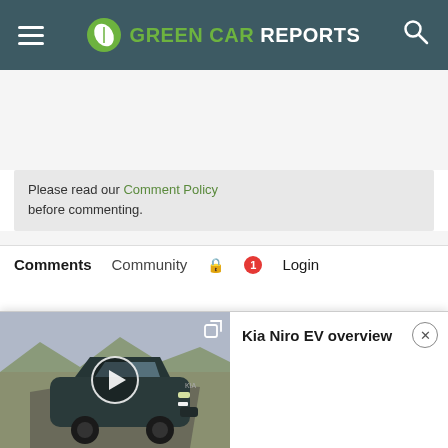Green Car Reports
Please read our Comment Policy before commenting.
Comments   Community   Login
[Figure (screenshot): Video player thumbnail showing a Kia Niro EV driving on a desert road with a play button overlay and expand icon. Title reads 'Kia Niro EV overview' with a close button.]